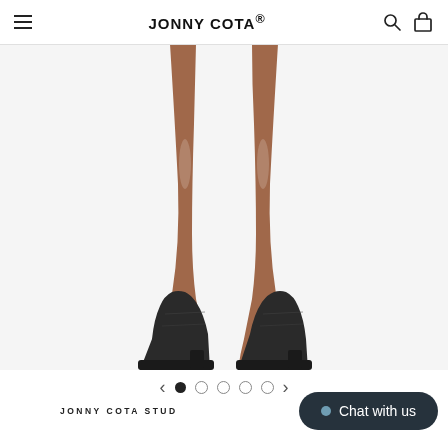JONNY COTA®
[Figure (photo): Close-up photo of a model's legs from thigh down, wearing black leather ankle boots with a small heel, against a white background.]
< ● ○ ○ ○ ○ >
JONNY COTA STUD...
Chat with us